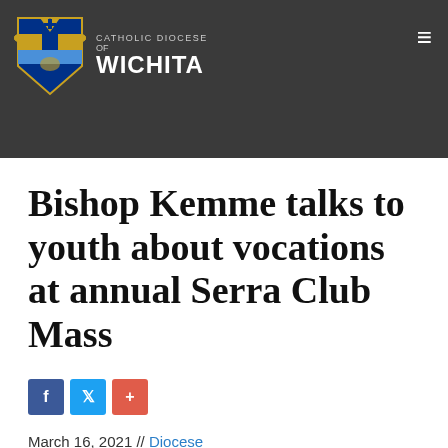CATHOLIC DIOCESE OF WICHITA
Bishop Kemme talks to youth about vocations at annual Serra Club Mass
March 16, 2021 // Diocese